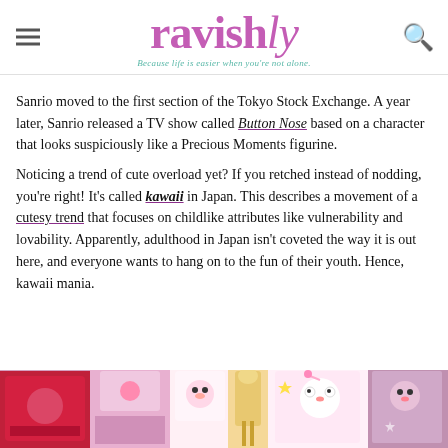ravishly — Because life is easier when you're not alone.
Sanrio moved to the first section of the Tokyo Stock Exchange. A year later, Sanrio released a TV show called Button Nose based on a character that looks suspiciously like a Precious Moments figurine.
Noticing a trend of cute overload yet? If you retched instead of nodding, you're right! It's called kawaii in Japan. This describes a movement of a cutesy trend that focuses on childlike attributes like vulnerability and lovability. Apparently, adulthood in Japan isn't coveted the way it is out here, and everyone wants to hang on to the fun of their youth. Hence, kawaii mania.
[Figure (photo): Photo of Hello Kitty and Sanrio merchandise — plush toys, bags, and accessories in pink, purple, and colorful patterns.]